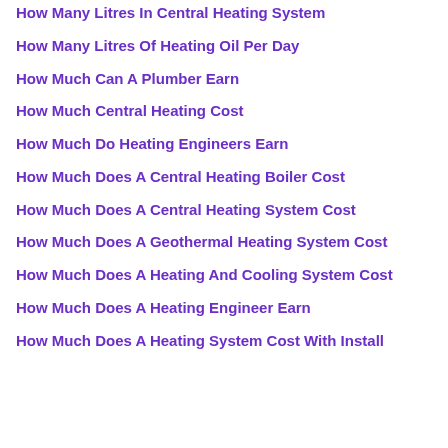How Many Litres In Central Heating System
How Many Litres Of Heating Oil Per Day
How Much Can A Plumber Earn
How Much Central Heating Cost
How Much Do Heating Engineers Earn
How Much Does A Central Heating Boiler Cost
How Much Does A Central Heating System Cost
How Much Does A Geothermal Heating System Cost
How Much Does A Heating And Cooling System Cost
How Much Does A Heating Engineer Earn
How Much Does A Heating System Cost With Install